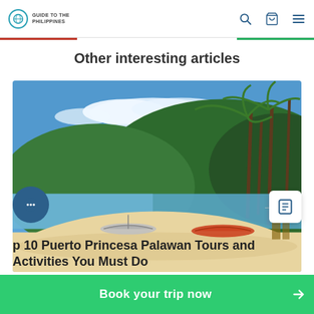Guide to the Philippines
Other interesting articles
[Figure (photo): Tropical beach scene with white sand, blue water, palm trees, green hills, and small boats — Puerto Princesa, Palawan, Philippines]
Top 10 Puerto Princesa Palawan Tours and Activities You Must Do
Book your trip now